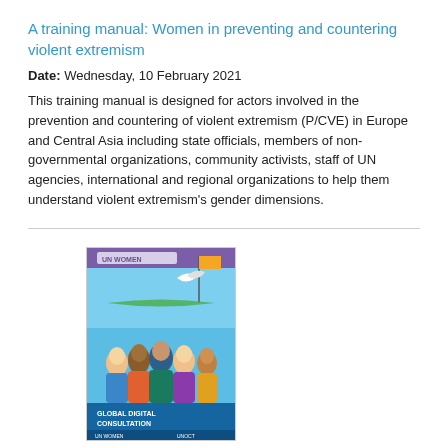A training manual: Women in preventing and countering violent extremism
Date: Wednesday, 10 February 2021
This training manual is designed for actors involved in the prevention and countering of violent extremism (P/CVE) in Europe and Central Asia including state officials, members of non-governmental organizations, community activists, staff of UN agencies, international and regional organizations to help them understand violent extremism's gender dimensions.
[Figure (illustration): Book cover of 'Global Digital Consultation' publication showing illustrated diverse group of people and a bird with a flag]
Global digital consultation: Voices and perspectives of civil society on the gendered dimensions of violent extremism and counterterrorism responses – Outcome report
Date: Monday, 9 November 2020